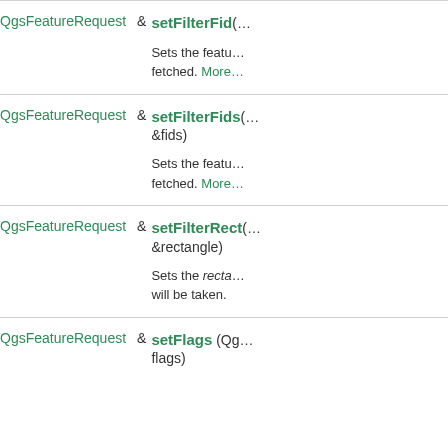QgsFeatureRequest & setFilterFid(...)
Sets the feature ID that should be fetched. More...
QgsFeatureRequest & setFilterFids(...&fids)
Sets the feature IDs that should be fetched. More...
QgsFeatureRequest & setFilterRect(...&rectangle)
Sets the rectangle from which features will be taken.
QgsFeatureRequest & setFlags (Qg... flags)